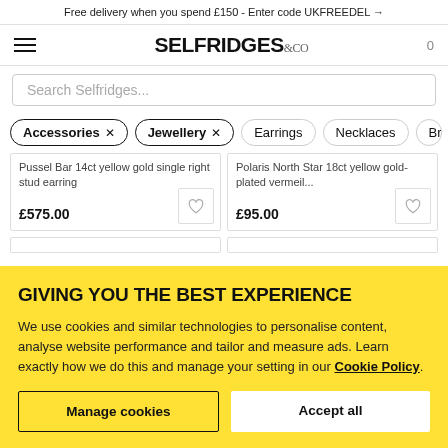Free delivery when you spend £150 - Enter code UKFREEDEL →
[Figure (logo): Selfridges & Co logo with hamburger menu and cart icon showing 0]
Search Selfridges...
Accessories × Jewellery × Earrings Necklaces Br
Pussel Bar 14ct yellow gold single right stud earring £575.00
Polaris North Star 18ct yellow gold-plated vermeil... £95.00
GIVING YOU THE BEST EXPERIENCE
We use cookies and similar technologies to personalise content, analyse website performance and tailor and measure ads. Learn exactly how we do this and manage your setting in our Cookie Policy.
Manage cookies
Accept all